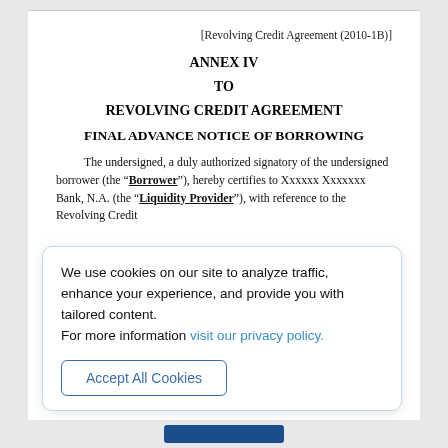[Revolving Credit Agreement (2010-1B)]
ANNEX IV
TO
REVOLVING CREDIT AGREEMENT
FINAL ADVANCE NOTICE OF BORROWING
The undersigned, a duly authorized signatory of the undersigned borrower (the “Borrower”), hereby certifies to Xxxxxx Xxxxxxx Bank, N.A. (the “Liquidity Provider”), with reference to the Revolving Credit
We use cookies on our site to analyze traffic, enhance your experience, and provide you with tailored content.
For more information visit our privacy policy.
Accept All Cookies